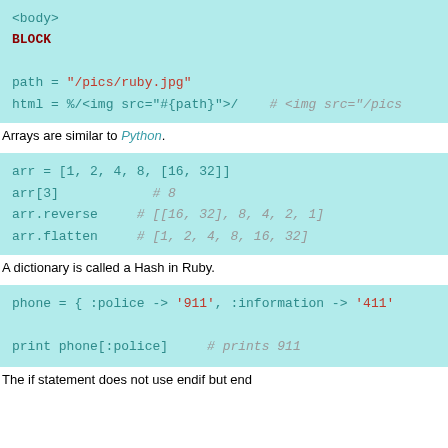[Figure (screenshot): Code block showing Ruby <body> tag and BLOCK label with path and html variables using string interpolation]
Arrays are similar to Python.
[Figure (screenshot): Code block showing Ruby array operations: arr = [1, 2, 4, 8, [16, 32]], arr[3] # 8, arr.reverse # [[16, 32], 8, 4, 2, 1], arr.flatten # [1, 2, 4, 8, 16, 32]]
A dictionary is called a Hash in Ruby.
[Figure (screenshot): Code block showing Ruby hash: phone = { :police -> '911', :information -> '411'  and print phone[:police] # prints 911]
The if statement does not use endif but end